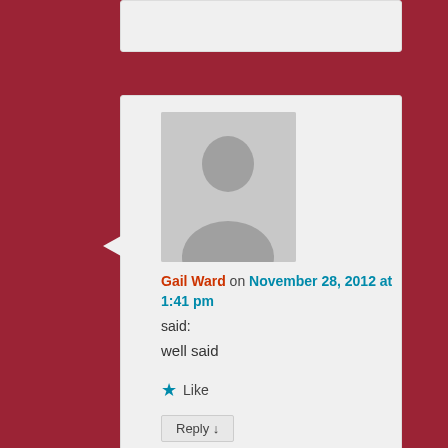[Figure (photo): Default avatar silhouette placeholder image for Gail Ward]
Gail Ward on November 28, 2012 at 1:41 pm said:
well said
★ Like
Reply ↓
[Figure (photo): Colorful geometric pattern avatar for Ian Morrison]
Ian Morrison on November 28, 2012 at 1:44 pm